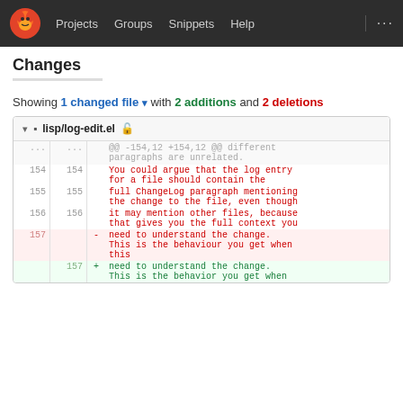Projects  Groups  Snippets  Help  ...
Changes
Showing 1 changed file with 2 additions and 2 deletions
| old | new | sign | code |
| --- | --- | --- | --- |
| ... | ... |  | @@ -154,12 +154,12 @@ different paragraphs are unrelated. |
| 154 | 154 |  | You could argue that the log entry for a file should contain the |
| 155 | 155 |  | full ChangeLog paragraph mentioning the change to the file, even though |
| 156 | 156 |  | it may mention other files, because that gives you the full context you |
| 157 |  | - | need to understand the change. This is the behaviour you get when this |
|  | 157 | + | need to understand the change. This is the behavior you get when |